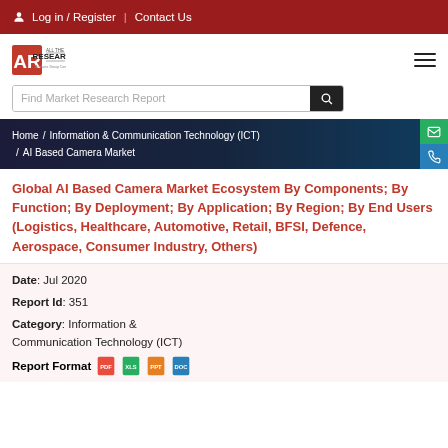Log in / Register | Contact Us
[Figure (logo): All The Research logo — AR monogram with 'ALL THE RESEARCH An Aviro Group Company' text]
Find Market Research Report
Home / Information & Communication Technology (ICT) / AI Based Camera Market
Global AI Based Camera Market Ecosystem By Components; By Function; By Deployment; By Application; By Region; By End Users (Logistics, Healthcare, Automotive, Retail, BFSI, Defence, Aerospace, Consumer Industry, Others)
Date: Jul 2020
Report Id: 351
Category: Information & Communication Technology (ICT)
Report Format